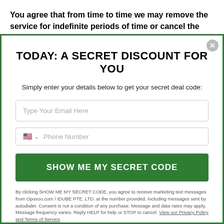You agree that from time to time we may remove the service for indefinite periods of time or cancel the service at any time, without notice to you.
TODAY: A SECRET DISCOUNT FOR YOU
Simply enter your details below to get your secret deal code:
Type Your Email Here
Phone Number
SHOW ME MY SECRET CODE
By clicking SHOW ME MY SECRET CODE, you agree to receive marketing text messages from Opovoo.com / IDUBE PTE. LTD. at the number provided, including messages sent by autodialer. Consent is not a condition of any purchase. Message and data rates may apply. Message frequency varies. Reply HELP for help or STOP to cancel. View our Privacy Policy and Terms of Service.